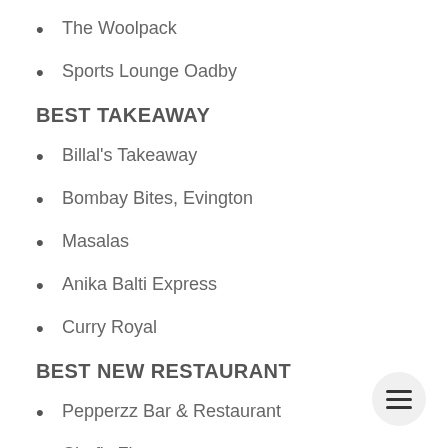The Woolpack
Sports Lounge Oadby
BEST TAKEAWAY
Billal's Takeaway
Bombay Bites, Evington
Masalas
Anika Balti Express
Curry Royal
BEST NEW RESTAURANT
Pepperzz Bar & Restaurant
Chef's Flavour
Soi Restaurant